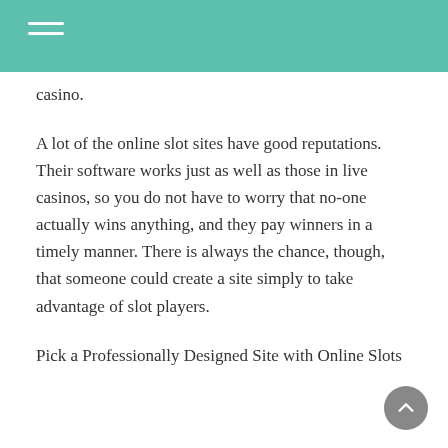casino.
A lot of the online slot sites have good reputations. Their software works just as well as those in live casinos, so you do not have to worry that no-one actually wins anything, and they pay winners in a timely manner. There is always the chance, though, that someone could create a site simply to take advantage of slot players.
Pick a Professionally Designed Site with Online Slots